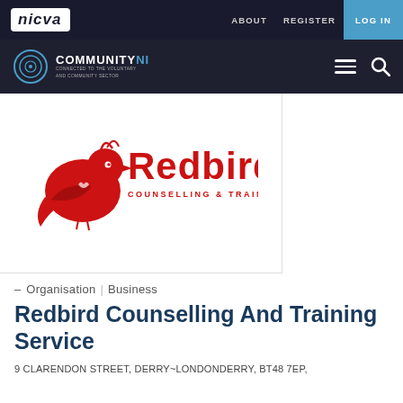nicva | ABOUT  REGISTER  LOG IN
COMMUNITYNI — Organisation | Business
[Figure (logo): Redbird Counselling & Training Service logo — red bird illustration with 'Redbird' in large red text and 'COUNSELLING & TRAINING SERVICE' in smaller red letters below]
– Organisation | Business
Redbird Counselling And Training Service
9 CLARENDON STREET, DERRY~LONDONDERRY, BT48 7EP,